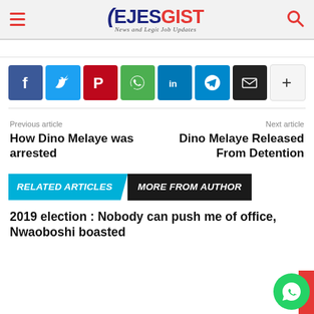EJESGIST - News and Legit Job Updates
[Figure (infographic): Social share buttons row: Facebook (blue), Twitter (light blue), Pinterest (red), WhatsApp (green), LinkedIn (blue), Telegram (blue), Email (black), More (+, light gray)]
Previous article
How Dino Melaye was arrested
Next article
Dino Melaye Released From Detention
RELATED ARTICLES  MORE FROM AUTHOR
2019 election : Nobody can push me of office, Nwaoboshi boasted